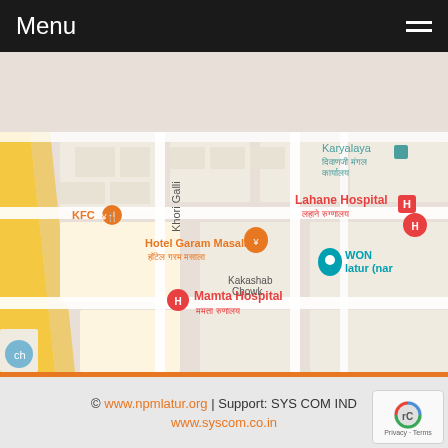Menu
[Figure (map): Google Maps screenshot showing streets in Latur area with landmarks: KFC, Hotel Garam Masala (हॉटेल गरम मसाला), Mamta Hospital (ममता रुणालय), Lahane Hospital (लहाने रुग्णालय), Karyalaya दिवाणजी मंगल कार्यालय, Kakashab Chowk, WON latur (nar), streets: Khori Galli, Swastik M]
© www.npmlatur.org | Support: SYS COM IND www.syscom.co.in